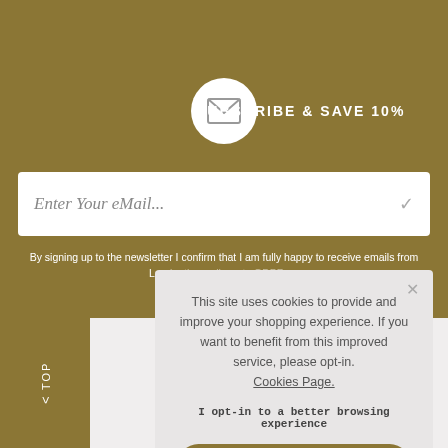SUBSCRIBE & SAVE 10%
Enter Your eMail...
By signing up to the newsletter I confirm that I am fully happy to receive emails from Lan... GDPR...
< TOP
This site uses cookies to provide and improve your shopping experience. If you want to benefit from this improved service, please opt-in. Cookies Page.
I opt-in to a better browsing experience
ACCEPT COOKIES
Visit Our Stores